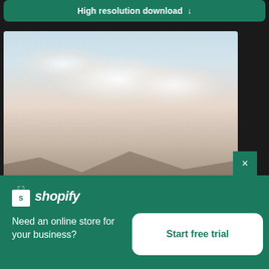High resolution download ↓
[Figure (photo): Landscape photo showing a cloudy sky with soft pink and grey tones, mountains visible in the lower portion of the image]
×
[Figure (logo): Shopify logo — shopping bag icon and italic wordmark 'shopify' in white on green background]
Need an online store for your business?
Start free trial